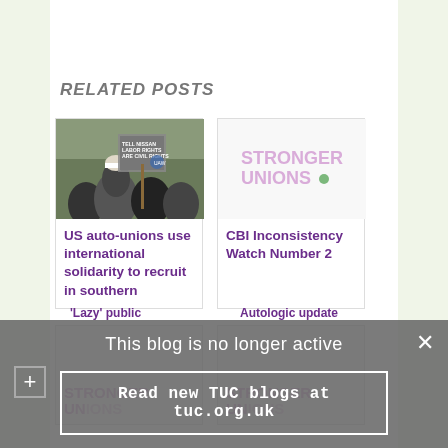RELATED POSTS
[Figure (photo): Protest photo showing people with signs reading 'TELL NISSAN LABOR RIGHTS ARE CIVIL RIGHTS']
US auto-unions use international solidarity to recruit in southern
[Figure (logo): Stronger Unions logo with green dot]
CBI Inconsistency Watch Number 2
[Figure (logo): Stronger Unions logo (partial, bottom-left card)]
[Figure (logo): Stronger Unions logo (partial, bottom-right card)]
'Lazy' public
Autologic update
This blog is no longer active
Read new TUC blogs at tuc.org.uk